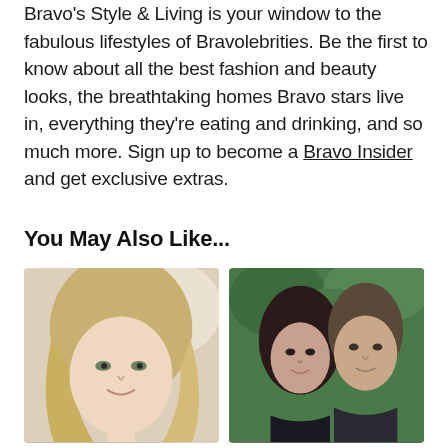Bravo's Style & Living is your window to the fabulous lifestyles of Bravolebrities. Be the first to know about all the best fashion and beauty looks, the breathtaking homes Bravo stars live in, everything they're eating and drinking, and so much more. Sign up to become a Bravo Insider and get exclusive extras.
You May Also Like...
[Figure (photo): Selfie of a blonde woman with long wavy hair, smiling, in a light indoor setting]
[Figure (photo): Couple posing together — dark-haired woman and man in dark suit, in front of green foliage backdrop]